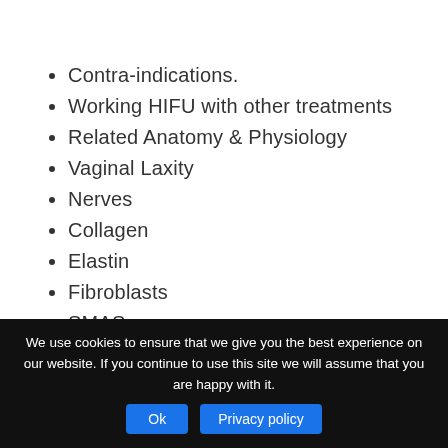Contra-indications.
Working HIFU with other treatments
Related Anatomy & Physiology
Vaginal Laxity
Nerves
Collagen
Elastin
Fibroblasts
SMAS
Wound Healing
Neo-collagenesis
We use cookies to ensure that we give you the best experience on our website. If you continue to use this site we will assume that you are happy with it.